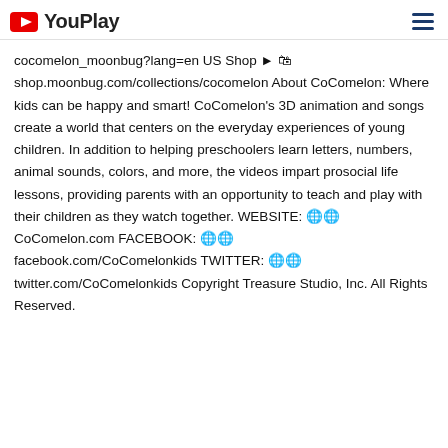YouPlay
cocomelon_moonbug?lang=en US Shop ► 🛍 shop.moonbug.com/collections/cocomelon About CoComelon: Where kids can be happy and smart! CoComelon's 3D animation and songs create a world that centers on the everyday experiences of young children. In addition to helping preschoolers learn letters, numbers, animal sounds, colors, and more, the videos impart prosocial life lessons, providing parents with an opportunity to teach and play with their children as they watch together. WEBSITE: 🌐CoComelon.com FACEBOOK: 🌐 facebook.com/CoComelonkids TWITTER: 🌐 twitter.com/CoComelonkids Copyright Treasure Studio, Inc. All Rights Reserved.